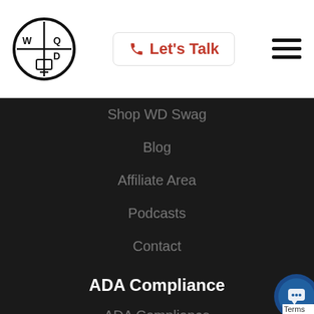[Figure (logo): WD logo inside a black circle with crosshair design and small monitor icon at the bottom]
📞 Let's Talk
[Figure (illustration): Hamburger menu icon (three horizontal lines)]
Shop WD Swag
Blog
Affiliate Area
Podcasts
Contact
ADA Compliance
ADA Compliance
Photography
Photography
[Figure (illustration): Chat widget button in bottom-right corner with circular blue/dark icon and partial 'Terms' label]